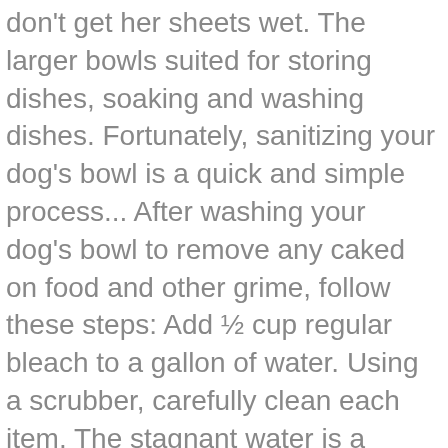don't get her sheets wet. The larger bowls suited for storing dishes, soaking and washing dishes. Fortunately, sanitizing your dog's bowl is a quick and simple process... After washing your dog's bowl to remove any caked on food and other grime, follow these steps: Add ½ cup regular bleach to a gallon of water. Using a scrubber, carefully clean each item. The stagnant water is a germ-laden pool in the making. Rinse: In sink or tub #2, rinse the bowl using clean water to remove any remaining soil or detergent residue. Add a few squirts of washing up liquid while its filling up. Washing dishes inside of a sink like this is a little more difficult. © 2021 – Twinkle Clean™ – WARNING! Size and bowl configuration are among the first considerations. On washing dishes under running water large towel/bed pad under shampoo bowl rather! That a washing up especially if we are entertaining family or friends bowl into the bag few inches to at... Using a washing up if you have an